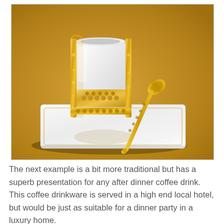[Figure (photo): A luxury white porcelain coffee cup with an ornate gold filigree holder featuring star and geometric patterns, sitting on a white square plate with gold trim border. A decorative gold spoon with detailed perforated pattern rests beside the cup on the plate. The background is a warm golden/amber color. The ensemble is photographed from a slightly elevated angle.]
The next example is a bit more traditional but has a superb presentation for any after dinner coffee drink.  This coffee drinkware is served in a high end local hotel, but would be just as suitable for a dinner party in a luxury home.